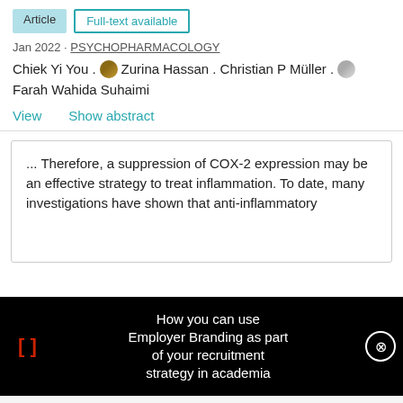Article  Full-text available
Jan 2022 · PSYCHOPHARMACOLOGY
Chiek Yi You . Zurina Hassan . Christian P Müller . Farah Wahida Suhaimi
View  Show abstract
... Therefore, a suppression of COX-2 expression may be an effective strategy to treat inflammation. To date, many investigations have shown that anti-inflammatory
How you can use Employer Branding as part of your recruitment strategy in academia
[Figure (screenshot): Advertisement for Thermo Fisher Scientific Dialysis products selection guide with product image]
Dialysis products selection guide